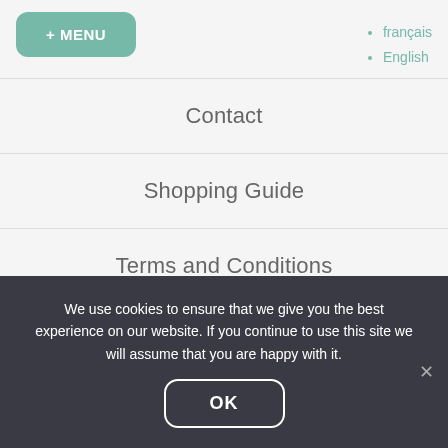+ MENU
français
English
Contact
Shopping Guide
Terms and Conditions
You account
About
We use cookies to ensure that we give you the best experience on our website. If you continue to use this site we will assume that you are happy with it.
OK